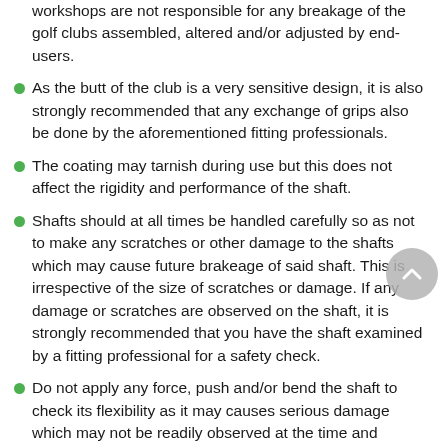workshops are not responsible for any breakage of the golf clubs assembled, altered and/or adjusted by end-users.
As the butt of the club is a very sensitive design, it is also strongly recommended that any exchange of grips also be done by the aforementioned fitting professionals.
The coating may tarnish during use but this does not affect the rigidity and performance of the shaft.
Shafts should at all times be handled carefully so as not to make any scratches or other damage to the shafts which may cause future brakeage of said shaft. This is irrespective of the size of scratches or damage. If any damage or scratches are observed on the shaft, it is strongly recommended that you have the shaft examined by a fitting professional for a safety check.
Do not apply any force, push and/or bend the shaft to check its flexibility as it may causes serious damage which may not be readily observed at the time and